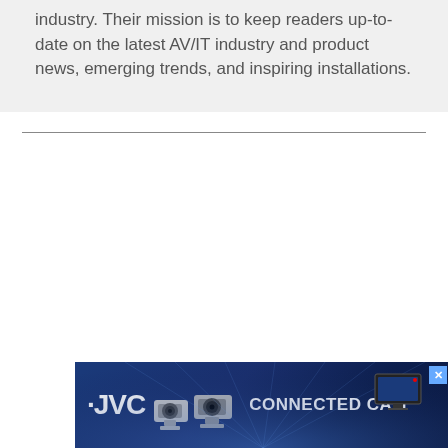industry. Their mission is to keep readers up-to-date on the latest AV/IT industry and product news, emerging trends, and inspiring installations.
[Figure (other): JVC Connected Cam advertisement banner with camera images on a blue gradient background]